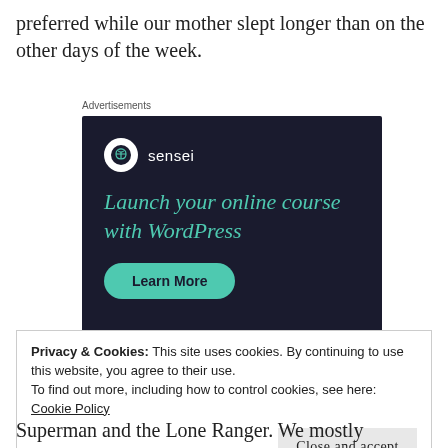preferred while our mother slept longer than on the other days of the week.
[Figure (illustration): Sensei advertisement banner with dark navy background showing logo, headline 'Launch your online course with WordPress', and a teal 'Learn More' button.]
Privacy & Cookies: This site uses cookies. By continuing to use this website, you agree to their use.
To find out more, including how to control cookies, see here:
Cookie Policy
Close and accept
Superman and the Lone Ranger. We mostly